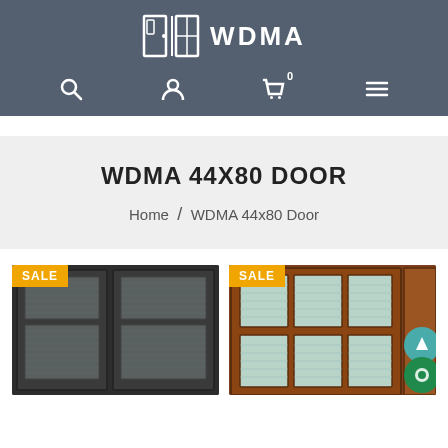[Figure (logo): WDMA logo with door/window icon and text WDMA]
[Figure (screenshot): Navigation bar with search, user, cart (0), and hamburger menu icons on dark background]
WDMA 44X80 DOOR
Home / WDMA 44x80 Door
[Figure (photo): Dark charcoal wood double door with frosted glass panels, SALE badge in top left corner]
[Figure (photo): Brown/cherry wood door with multiple glass panes, SALE badge in top left corner, scroll-to-top and chat FAB buttons on the right]